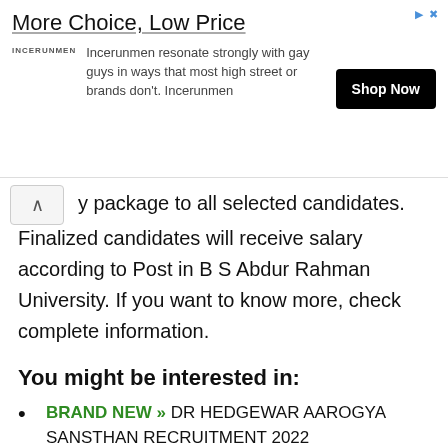[Figure (other): Advertisement banner for Incerunmen: 'More Choice, Low Price' with Shop Now button]
...y package to all selected candidates. Finalized candidates will receive salary according to Post in B S Abdur Rahman University. If you want to know more, check complete information.
You might be interested in:
BRAND NEW » DR HEDGEWAR AAROGYA SANSTHAN RECRUITMENT 2022
LATEST » JLNGMCH CHAMBA RECRUITMENT 2022
RECENT » PATHANAMTHITTA DISTRICT COURT RECRUITMENT 2022